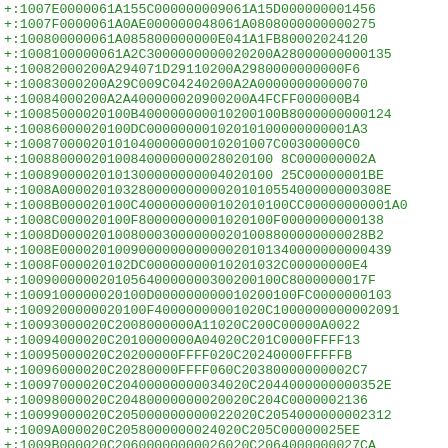+:1007E0000061A155C000000009061A15D000000001456
+:1007F0000061A0AE000000048061A0808000000000275
+:100800000061A085800000000E041A1FB80002024120
+:1008100000061A2C3000000000020200A28000000000135
+:10082000200A294071D29110200A2980000000000F6
+:10083000200A29C009C04240200A2A00000000000070
+:10084000200A2A400000020900200A4FCFF000000B4
+:10085000020100B400000000010200100B8000000000124
+:10086000020100DC00000000102010100000000001A3
+:10087000020101040000000010201007C00300000C0
+:10088000020100840000000028020100 8C000000002A
+:10089000020101300000000004020100 25C00000001BE
+:1008A00002010328000000000020101055400000000308E
+:1008B000020100C4000000000102010100CC00000000001A0
+:1008C000020100F80000000001020100F0000000000138
+:1008D000020100800030000000201008800000000028B2
+:1008E000020100900000000000020101340000000000439
+:1008F000020102DC00000000010201032C00000000E4
+:100900000020105640000000300200100C8000000017F
+:1009100000020100D000000000010200100FC0000000103
+:1009200000020100F40000000001020C1000000000002091
+:10093000020C2008000000A11020C200C00000A0022
+:10094000020C2010000000A04020C201C0000FFFF13
+:10095000020C20200000FFFF020C20240000FFFFFB
+:10096000020C20280000FFFF060C20380000000002C7
+:10097000020C20400000000034020C2044000000000352E
+:10098000020C20480000000020020C204C0000002136
+:10099000020C205000000000022020C2054000000002312
+:1009A000020C2058000000024020C205C00000025EE
+:1009B000020C20600000000026020C2064000000027CA